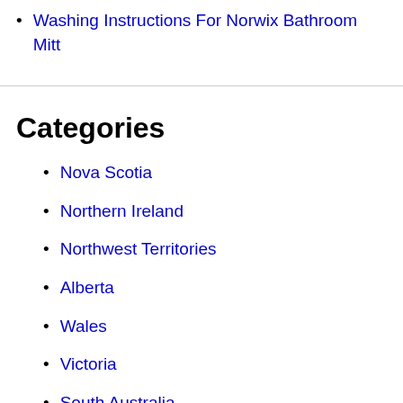Washing Instructions For Norwix Bathroom Mitt
Categories
Nova Scotia
Northern Ireland
Northwest Territories
Alberta
Wales
Victoria
South Australia